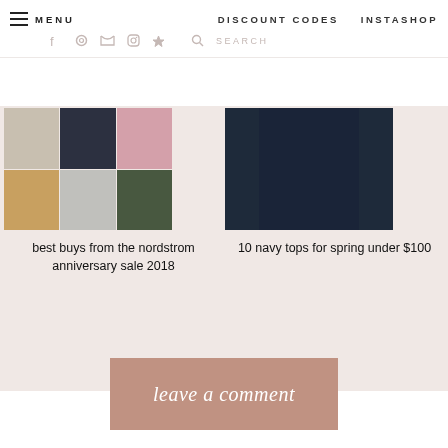MENU   DISCOUNT CODES   INSTASHOP
[Figure (photo): Collage of fashion outfit photos showing women in various outfits including jeans, wide-leg pants, and a pink sweater]
best buys from the nordstrom anniversary sale 2018
[Figure (photo): Woman in navy top and dark jeans standing outside]
10 navy tops for spring under $100
leave a comment